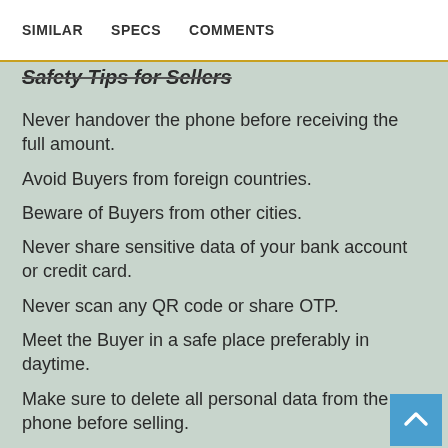SIMILAR   SPECS   COMMENTS
Safety Tips for Sellers
Never handover the phone before receiving the full amount.
Avoid Buyers from foreign countries.
Beware of Buyers from other cities.
Never share sensitive data of your bank account or credit card.
Never scan any QR code or share OTP.
Meet the Buyer in a safe place preferably in daytime.
Make sure to delete all personal data from the phone before selling.
Format the device or Reset to factory settings before sel…